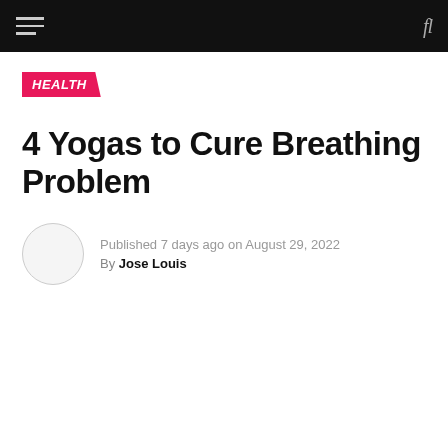HEALTH | 4 Yogas to Cure Breathing Problem
HEALTH
4 Yogas to Cure Breathing Problem
Published 7 days ago on August 29, 2022
By Jose Louis